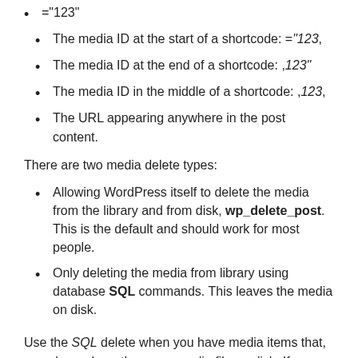="123"
The media ID at the start of a shortcode: ="123,
The media ID at the end of a shortcode: ,123"
The media ID in the middle of a shortcode: ,123,
The URL appearing anywhere in the post content.
There are two media delete types:
Allowing WordPress itself to delete the media from the library and from disk, wp_delete_post. This is the default and should work for most people.
Only deleting the media from library using database SQL commands. This leaves the media on disk.
Use the SQL delete when you have media items that, somehow, share the same media file on disk. If you don't have duplicates, you'll be fine with the